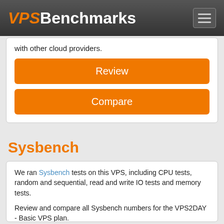VPSBenchmarks
with other cloud providers.
Review
Compare
Sysbench
We ran Sysbench tests on this VPS, including CPU tests, random and sequential, read and write IO tests and memory tests.
Review and compare all Sysbench numbers for the VPS2DAY - Basic VPS plan.
Review